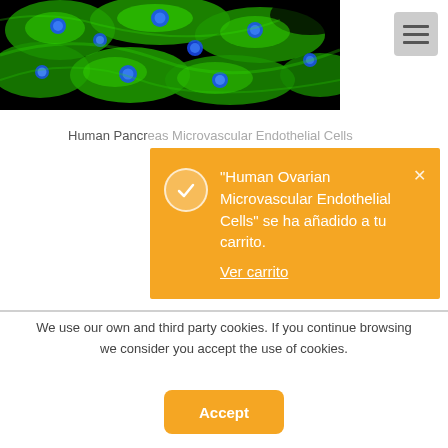[Figure (photo): Fluorescence microscopy image of human pancreatic microvascular endothelial cells stained green (cytoskeleton) and blue (nuclei) on black background.]
Human Pancreatic Microvascular Endothelial Cells
[Figure (screenshot): Orange notification popup with white checkmark circle, showing message: “Human Ovarian Microvascular Endothelial Cells” se ha añadido a tu carrito. Ver carrito. With close (x) button.]
We use our own and third party cookies. If you continue browsing we consider you accept the use of cookies.
Accept